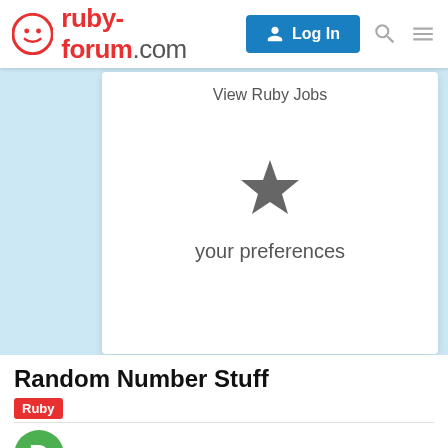ruby-forum.com | Log In
View Ruby Jobs
[Figure (illustration): Star icon for preferences]
your preferences
Random Number Stuff
Ruby
davidstokar   Jun '08